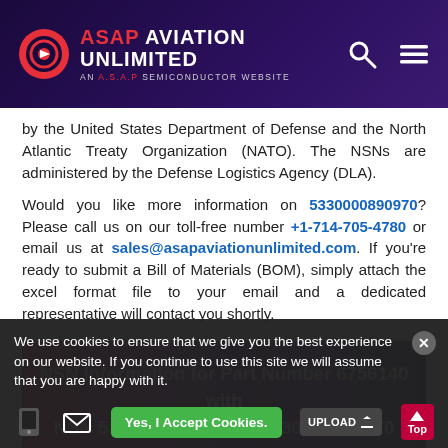ASAP AVIATION UNLIMITED — AN A.S.A.P SEMICONDUCTOR WEBSITE
by the United States Department of Defense and the North Atlantic Treaty Organization (NATO). The NSNs are administered by the Defense Logistics Agency (DLA).
Would you like more information on 5330000890970? Please call us on our toll-free number +1-714-705-4780 or email us at sales@asapaviationunlimited.com. If you're ready to submit a Bill of Materials (BOM), simply attach the excel format file to your email and a dedicated representative will contact you shortly.
NSN Information for Part Number 6756140 with NSN 5330-00-089-0970, 5330000890970
We use cookies to ensure that we give you the best experience on our website. If you continue to use this site we will assume that you are happy with it.